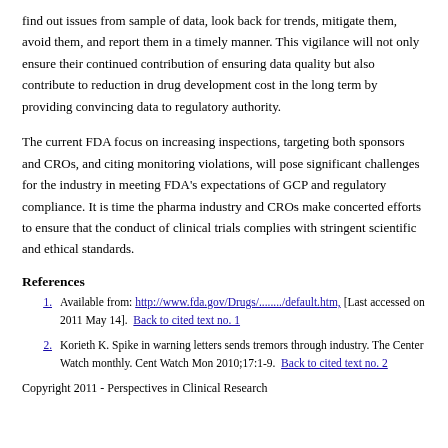find out issues from sample of data, look back for trends, mitigate them, avoid them, and report them in a timely manner. This vigilance will not only ensure their continued contribution of ensuring data quality but also contribute to reduction in drug development cost in the long term by providing convincing data to regulatory authority.
The current FDA focus on increasing inspections, targeting both sponsors and CROs, and citing monitoring violations, will pose significant challenges for the industry in meeting FDA's expectations of GCP and regulatory compliance. It is time the pharma industry and CROs make concerted efforts to ensure that the conduct of clinical trials complies with stringent scientific and ethical standards.
References
1. Available from: http://www.fda.gov/Drugs/......../default.htm, [Last accessed on 2011 May 14]. Back to cited text no. 1
2. Korieth K. Spike in warning letters sends tremors through industry. The Center Watch monthly. Cent Watch Mon 2010;17:1-9. Back to cited text no. 2
Copyright 2011 - Perspectives in Clinical Research